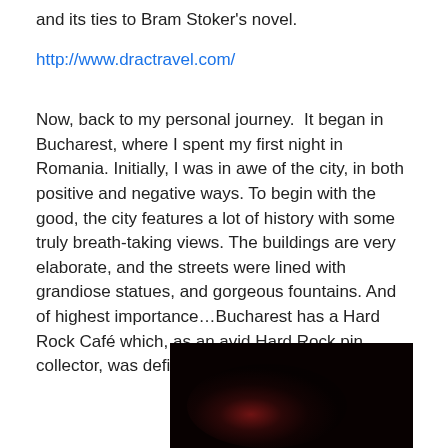and its ties to Bram Stoker's novel.
http://www.dractravel.com/
Now, back to my personal journey.  It began in Bucharest, where I spent my first night in Romania. Initially, I was in awe of the city, in both positive and negative ways. To begin with the good, the city features a lot of history with some truly breath-taking views. The buildings are very elaborate, and the streets were lined with grandiose statues, and gorgeous fountains. And of highest importance…Bucharest has a Hard Rock Café which, as an avid Hard Rock pin collector, was definitely a point in its favour.
[Figure (photo): Dark photograph, mostly black with reddish tones in the center, appearing to be a nighttime or low-light image.]